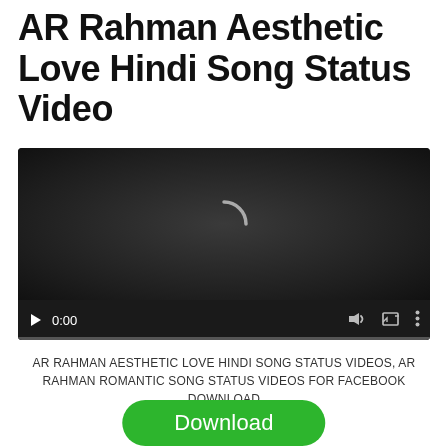AR Rahman Aesthetic Love Hindi Song Status Video
[Figure (screenshot): Embedded video player with dark background, loading spinner, play button, time display 0:00, volume, fullscreen, and more-options icons, with a progress bar at the bottom.]
AR RAHMAN AESTHETIC LOVE HINDI SONG STATUS VIDEOS, AR RAHMAN ROMANTIC SONG STATUS VIDEOS FOR FACEBOOK DOWNLOAD